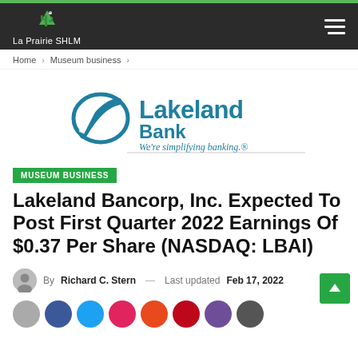La Prairie SHLM
Home > Museum business >
[Figure (logo): Lakeland Bank logo with tagline 'We're simplifying banking.']
MUSEUM BUSINESS
Lakeland Bancorp, Inc. Expected To Post First Quarter 2022 Earnings Of $0.37 Per Share (NASDAQ: LBAI)
By Richard C. Stern — Last updated Feb 17, 2022